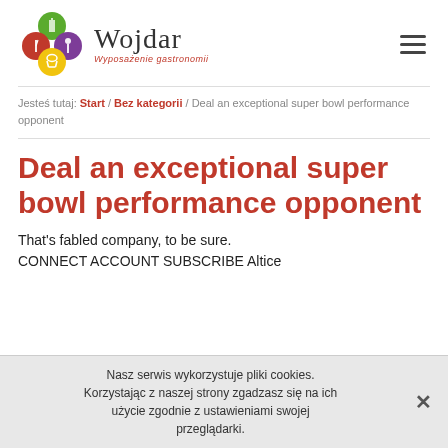[Figure (logo): Wojdar logo with colorful circles containing fork, knife, spoon and wine glass icons, with brand name 'Wojdar' and tagline 'Wyposażenie gastronomii']
Jesteś tutaj: Start / Bez kategorii / Deal an exceptional super bowl performance opponent
Deal an exceptional super bowl performance opponent
That's fabled company, to be sure. CONNECT ACCOUNT SUBSCRIBE Altice
Nasz serwis wykorzystuje pliki cookies. Korzystając z naszej strony zgadzasz się na ich użycie zgodnie z ustawieniami swojej przeglądarki.